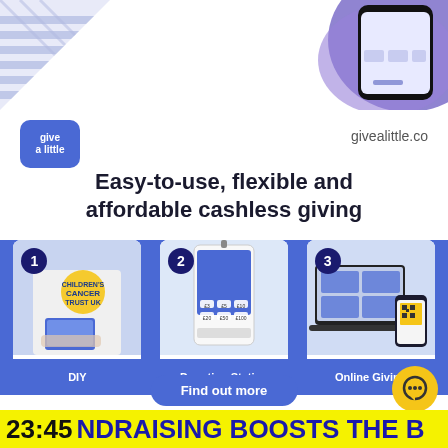[Figure (infographic): Top decorative area with purple diagonal-striped triangle on left and smartphone screenshot on right with purple blob background]
[Figure (logo): Give a Little logo - blue rounded square with white text 'give a little']
givealittle.co
Easy-to-use, flexible and affordable cashless giving
[Figure (infographic): Three cards on blue background showing: 1) DIY - person with Children's Cancer Trust t-shirt holding tablet, 2) Donation Station - white kiosk device with donation amounts, 3) Online Giving - laptop and phone displaying giving webpage]
DIY
Donation Station
Online Giving
Find out more
23:45 NDRAISING BOOSTS THE B